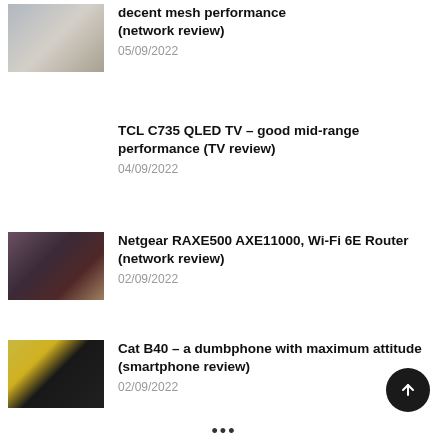decent mesh performance (network review)
05/09/2022
TCL C735 QLED TV – good mid-range performance (TV review)
04/09/2022
Netgear RAXE500 AXE11000, Wi-Fi 6E Router (network review)
02/09/2022
Cat B40 – a dumbphone with maximum attitude (smartphone review)
02/09/2022